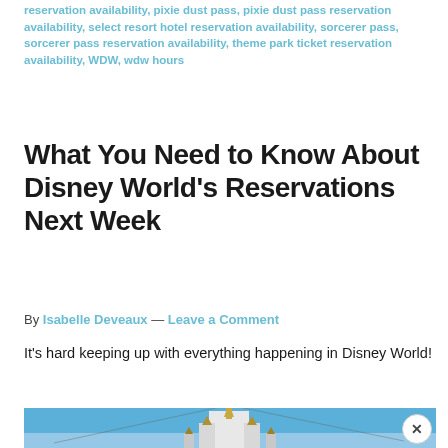reservation availability, pixie dust pass, pixie dust pass reservation availability, select resort hotel reservation availability, sorcerer pass, sorcerer pass reservation availability, theme park ticket reservation availability, WDW, wdw hours
What You Need to Know About Disney World's Reservations Next Week
By Isabelle Deveaux — Leave a Comment
It's hard keeping up with everything happening in Disney World!
[Figure (photo): Photo of Cinderella Castle spire at Walt Disney World against a blue sky]